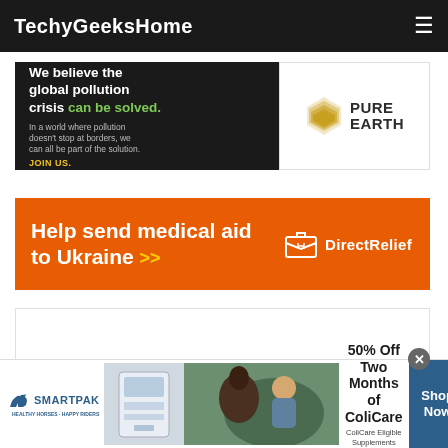TechyGeeksHome
[Figure (infographic): Pure Earth advertisement banner: 'We believe the global pollution crisis can be solved. In a world where pollution doesn't stop at borders, we can all be part of the solution. JOIN US.' with Pure Earth diamond logo]
[Figure (infographic): Direct Relief advertisement: 'Help send medical aid to Ukraine >>' with Direct Relief logo on orange background]
[Figure (infographic): SmartPak advertisement: '50% Off Two Months of ColiCare, ColiCare Eligible Supplements, CODE: COLICARE10' with horse and product images, Shop Now button]